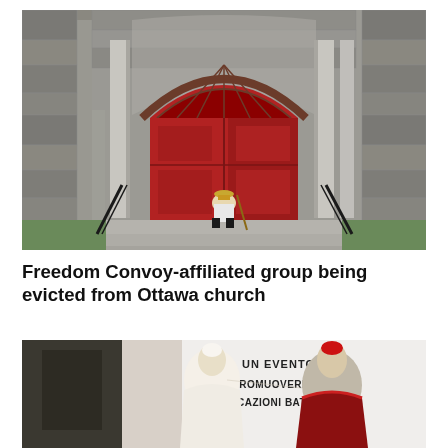[Figure (photo): A stone church facade with a large red arched door and steps. A person sits on the steps in front of the door.]
Freedom Convoy-affiliated group being evicted from Ottawa church
[Figure (photo): Two Catholic clergy, one appearing to be Pope Francis in white, and another in red cardinal robes, leaning together. A banner in the background reads 'UN EVENTO PROMUOVERE TUT... CAZIONI BATTESI...']